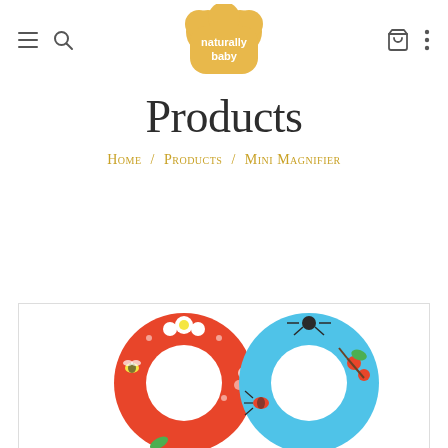naturally baby — navigation header with hamburger, search, cart, and more icons
Products
Home / Products / Mini Magnifier
[Figure (photo): Two colorful mini magnifier rings — one red with bee and flower pattern, one blue with bug and nature pattern — displayed side by side in a white product card with light grey border.]